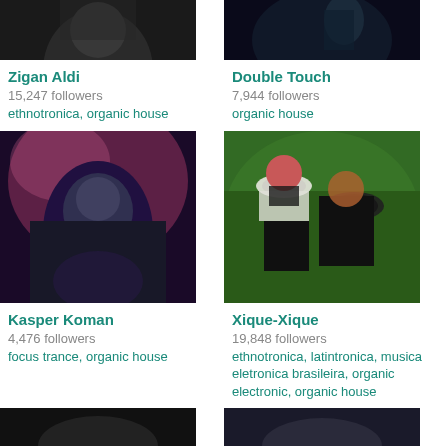[Figure (photo): Black and white photo of Zigan Aldi, partial view at top]
Zigan Aldi
15,247 followers
ethnotronica, organic house
[Figure (photo): Dark blue-toned photo of Double Touch, partial view at top]
Double Touch
7,944 followers
organic house
[Figure (photo): Photo of Kasper Koman in purple-pink lighting, man with glasses]
Kasper Koman
4,476 followers
focus trance, organic house
[Figure (photo): Photo of Xique-Xique, two people lying on grass]
Xique-Xique
19,848 followers
ethnotronica, latintronica, musica eletronica brasileira, organic electronic, organic house
[Figure (photo): Dark photo at bottom left, partial view]
[Figure (photo): Dark blue photo at bottom right, partial view]